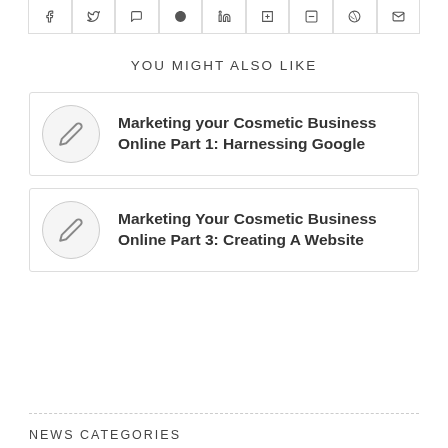[Figure (other): Social share bar with icons: Facebook, Twitter, WhatsApp, Pinterest, LinkedIn, Tumblr, VK, Reddit, Email]
YOU MIGHT ALSO LIKE
Marketing your Cosmetic Business Online Part 1: Harnessing Google
Marketing Your Cosmetic Business Online Part 3: Creating A Website
NEWS CATEGORIES